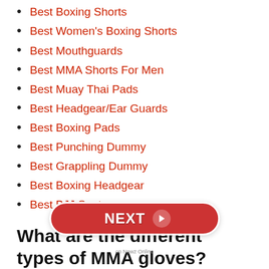Best Boxing Shorts
Best Women's Boxing Shorts
Best Mouthguards
Best MMA Shorts For Men
Best Muay Thai Pads
Best Headgear/Ear Guards
Best Boxing Pads
Best Punching Dummy
Best Grappling Dummy
Best Boxing Headgear
Best BJJ Spats
What are the different types of MMA gloves?
Before you look for the best MMA gloves, you need to know the different types of gloves. Here are